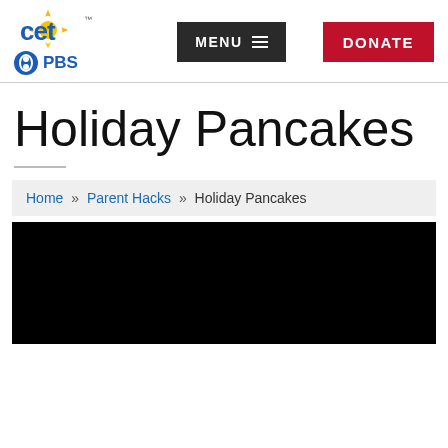CET PBS — MENU — DONATE
Holiday Pancakes
Home » Parent Hacks » Holiday Pancakes
[Figure (photo): Dark/black video thumbnail area at bottom of page]